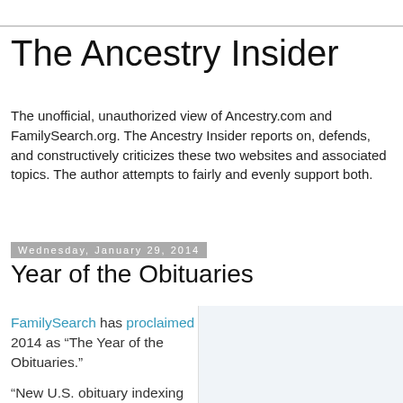The Ancestry Insider
The unofficial, unauthorized view of Ancestry.com and FamilySearch.org. The Ancestry Insider reports on, defends, and constructively criticizes these two websites and associated topics. The author attempts to fairly and evenly support both.
Wednesday, January 29, 2014
Year of the Obituaries
FamilySearch has proclaimed 2014 as “The Year of the Obituaries.”
“New U.S. obituary indexing projects have appeared over the